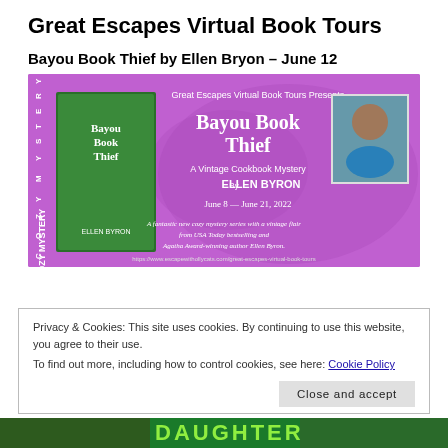Great Escapes Virtual Book Tours
Bayou Book Thief by Ellen Bryon – June 12
[Figure (illustration): Great Escapes Virtual Book Tours promotional banner for 'Bayou Book Thief' by Ellen Byron. Purple background with book cover image on left, author photo on right, text: 'Great Escapes Virtual Book Tours Presents / Bayou Book Thief / A Vintage Cookbook Mystery / By ELLEN BYRON / June 8 — June 21, 2022 / A fantastic new cozy mystery series with a vintage flair from USA Today bestselling and Agatha Award-winning author Ellen Byron.' URL shown at bottom. 'COZY MYSTERY' text runs vertically on left side.]
Privacy & Cookies: This site uses cookies. By continuing to use this website, you agree to their use.
To find out more, including how to control cookies, see here: Cookie Policy
Close and accept
[Figure (illustration): Bottom strip showing partial book covers with green text partially visible spelling 'DAUGHTER']